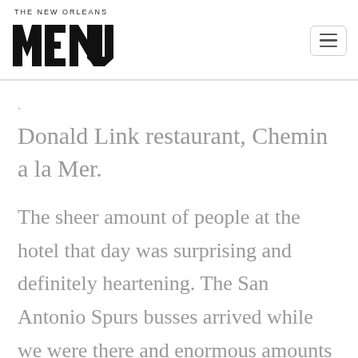[Figure (logo): The New Orleans Menu logo — stylized bold block letters spelling MENU with 'THE NEW ORLEANS' text above]
Donald Link restaurant, Chemin a la Mer.
The sheer amount of people at the hotel that day was surprising and definitely heartening. The San Antonio Spurs busses arrived while we were there and enormous amounts of gear filled the elevators for a while. There was definitely a crowd and